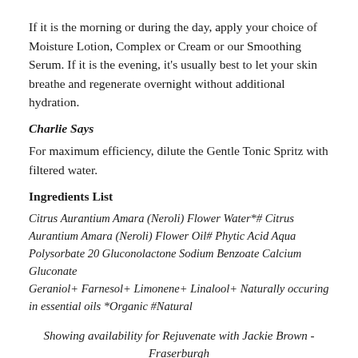If it is the morning or during the day, apply your choice of Moisture Lotion, Complex or Cream or our Smoothing Serum. If it is the evening, it's usually best to let your skin breathe and regenerate overnight without additional hydration.
Charlie Says
For maximum efficiency, dilute the Gentle Tonic Spritz with filtered water.
Ingredients List
Citrus Aurantium Amara (Neroli) Flower Water*# Citrus Aurantium Amara (Neroli) Flower Oil# Phytic Acid Aqua Polysorbate 20 Gluconolactone Sodium Benzoate Calcium Gluconate
Geraniol+ Farnesol+ Limonene+ Linalool+ Naturally occuring in essential oils *Organic #Natural
Showing availability for Rejuvenate with Jackie Brown - Fraserburgh